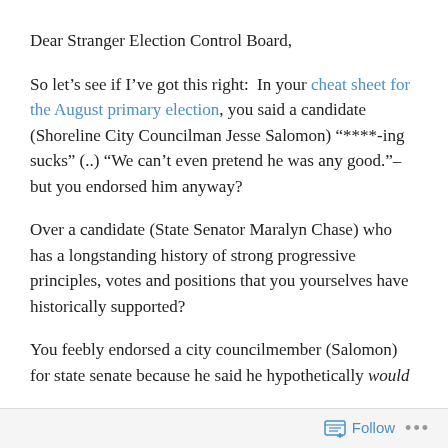Dear Stranger Election Control Board,
So let’s see if I’ve got this right: In your cheat sheet for the August primary election, you said a candidate (Shoreline City Councilman Jesse Salomon) “****-ing sucks” (..) “We can’t even pretend he was any good.”– but you endorsed him anyway?
Over a candidate (State Senator Maralyn Chase) who has a longstanding history of strong progressive principles, votes and positions that you yourselves have historically supported?
You feebly endorsed a city councilmember (Salomon) for state senate because he said he hypothetically would
Follow •••